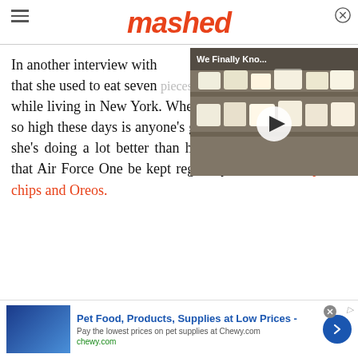mashed
[Figure (screenshot): Video thumbnail showing cheese/dairy products on store shelves with play button overlay and label 'We Finally Kno...']
In another interview with that she used to eat seven pieces of fruit a day while living in New York. Whether she keeps that number so high these days is anyone's guess, but it's a fair bet that she's doing a lot better than her husband, who demands that Air Force One be kept regularly stocked with potato chips and Oreos.
[Figure (screenshot): Advertisement: Pet Food, Products, Supplies at Low Prices - Chewy.com]